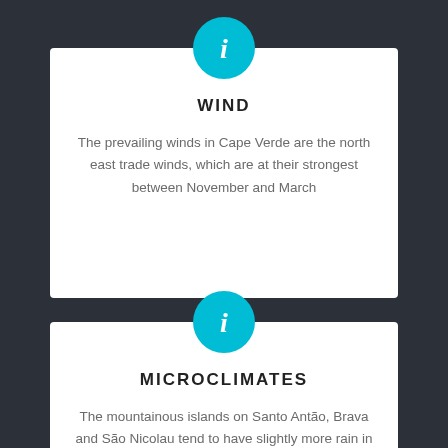[Figure (infographic): Info card with cyan circle icon containing italic 'i']
WIND
The prevailing winds in Cape Verde are the north east trade winds, which are at their strongest between November and March
[Figure (infographic): Info card with cyan circle icon containing italic 'i']
MICROCLIMATES
The mountainous islands on Santo Antão, Brava and São Nicolau tend to have slightly more rain in some valleys, which are therefore greener